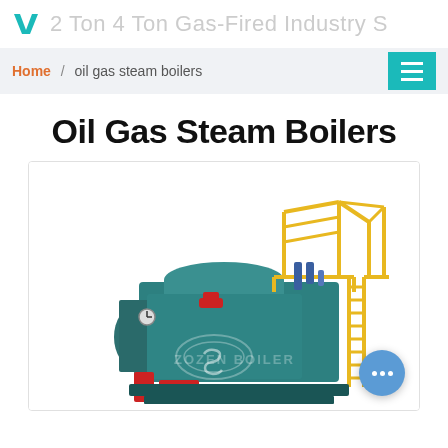2 Ton 4 Ton Gas-Fired Industry S
Home / oil gas steam boilers
Oil Gas Steam Boilers
[Figure (photo): 3D rendering of a ZOZEN BOILER industrial oil gas steam boiler unit, teal/dark green body with yellow safety railings and ladder structure on top and side, red accent components, ZOZEN BOILER watermark text on the lower portion of the boiler]